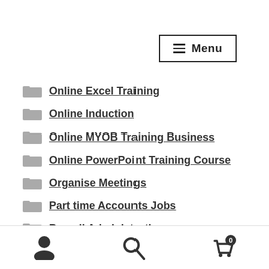[Figure (screenshot): Menu button with hamburger icon in top right corner]
Online Excel Training
Online Induction
Online MYOB Training Business
Online PowerPoint Training Course
Organise Meetings
Part time Accounts Jobs
Payroll Administration
Payroll Course
Payroll Officer
user icon | search icon | cart icon with 0